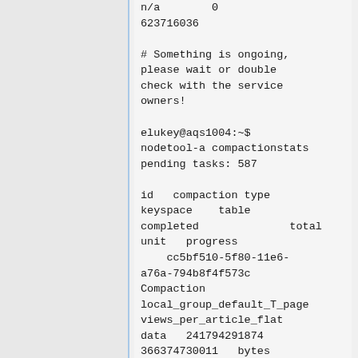n/a        0
623716036

# Something is ongoing, please wait or double check with the service owners!

elukey@aqs1004:~$ nodetool-a compactionstats
pending tasks: 587

id   compaction type keyspace    table completed              total unit   progress
    cc5bf510-5f80-11e6-a76a-794b8f4f573c Compaction local_group_default_T_page views_per_article_flat data   241794291874 366374730011   bytes 66.00%